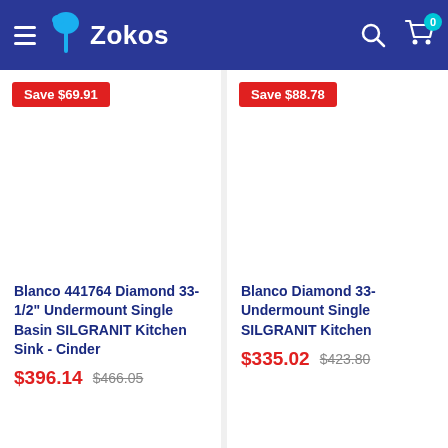Zokos
Save $69.91
Blanco 441764 Diamond 33-1/2" Undermount Single Basin SILGRANIT Kitchen Sink - Cinder
$396.14  $466.05
Save $88.78
Blanco Diamond 33- Undermount Single SILGRANIT Kitchen
$335.02  $423.80